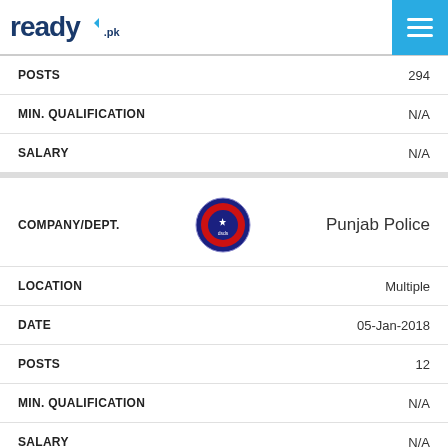ready.pk
| Field | Value |
| --- | --- |
| POSTS | 294 |
| MIN. QUALIFICATION | N/A |
| SALARY | N/A |
| Field | Value |
| --- | --- |
| COMPANY/DEPT. | Punjab Police |
| LOCATION | Multiple |
| DATE | 05-Jan-2018 |
| POSTS | 12 |
| MIN. QUALIFICATION | N/A |
| SALARY | N/A |
| Field | Value |
| --- | --- |
| COMPANY/DEPT. | School Education Department Govt of Punjab |